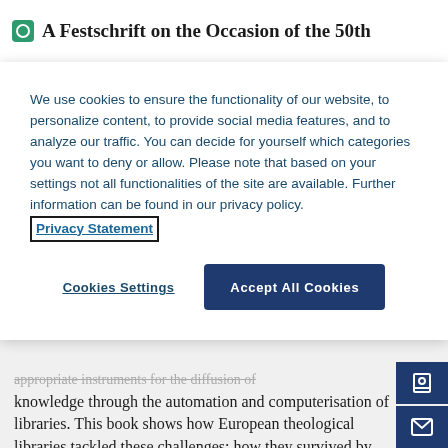A Festschrift on the Occasion of the 50th
We use cookies to ensure the functionality of our website, to personalize content, to provide social media features, and to analyze our traffic. You can decide for yourself which categories you want to deny or allow. Please note that based on your settings not all functionalities of the site are available. Further information can be found in our privacy policy. Privacy Statement
Cookies Settings | Accept All Cookies
knowledge through the automation and computerisation of libraries. This book shows how European theological libraries tackled these challenges; how they survived by redefining their task, by participating in the renewal of scholarly librarianship, and by networking internationally. Since 1972, BETH, the Association of European Theological Libraries, has stimulated this process